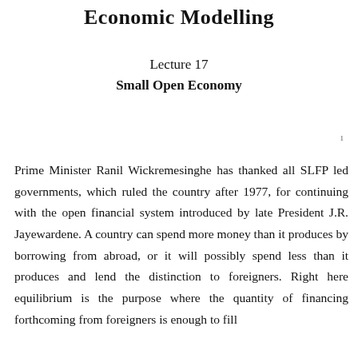Economic Modelling
Lecture 17
Small Open Economy
Prime Minister Ranil Wickremesinghe has thanked all SLFP led governments, which ruled the country after 1977, for continuing with the open financial system introduced by late President J.R. Jayewardene. A country can spend more money than it produces by borrowing from abroad, or it will possibly spend less than it produces and lend the distinction to foreigners. Right here equilibrium is the purpose where the quantity of financing forthcoming from foreigners is enough to fill